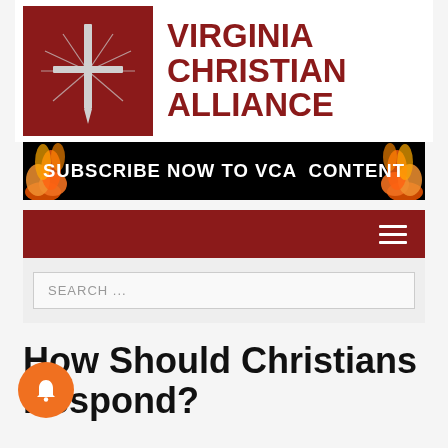[Figure (logo): Virginia Christian Alliance logo with red square background containing a cross/sword symbol with radiating lines, and bold dark red text reading VIRGINIA CHRISTIAN ALLIANCE to the right]
[Figure (infographic): Black banner with orange flames on both sides and white bold text reading SUBSCRIBE NOW TO VCA CONTENT]
[Figure (screenshot): Dark red navigation bar with white hamburger menu icon (three horizontal lines) on the right side]
[Figure (screenshot): Light grey search bar area with a search input box containing placeholder text SEARCH ...]
How Should Christians Respond?